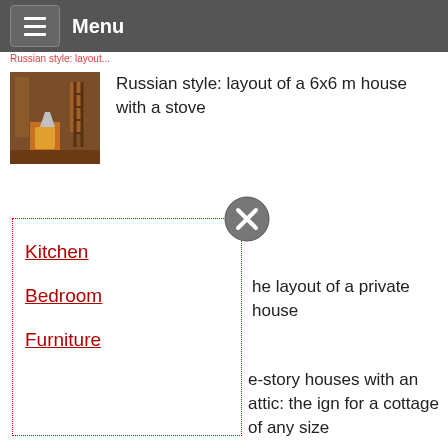Menu
Russian style: layout of a 6x6 m house with a stove
Kitchen
Bedroom
Furniture
he layout of a private house
e-story houses with an attic: the ign for a cottage of any size